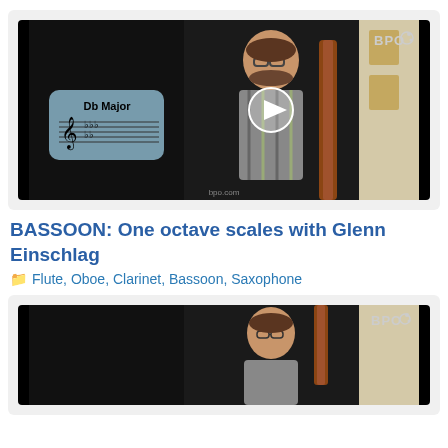[Figure (screenshot): Video thumbnail showing a man holding a bassoon with a 'Db Major' scale overlay on the left side and BPO logo top right, with a play button in the center]
BASSOON: One octave scales with Glenn Einschlag
Flute, Oboe, Clarinet, Bassoon, Saxophone
[Figure (screenshot): Second video thumbnail showing the same man holding a bassoon with BPO logo top right]